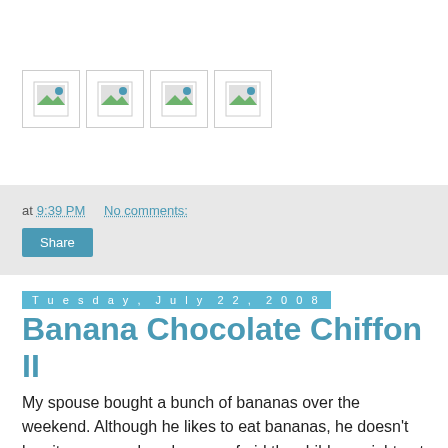[Figure (other): Four broken image placeholders arranged in a row]
at 9:39 PM   No comments:
Share
Tuesday, July 22, 2008
Banana Chocolate Chiffon II
My spouse bought a bunch of bananas over the weekend. Although he likes to eat bananas, he doesn't buy it every week as he was afraid the children might get too much phlegm if they eat too much. Whenever I see a bunch of bananas, I will get very tempted to use it to bake cakes. I don't really eat bananas, but I will eat a banana cake though! So I decided to bake the usual banana chocolate chiffon